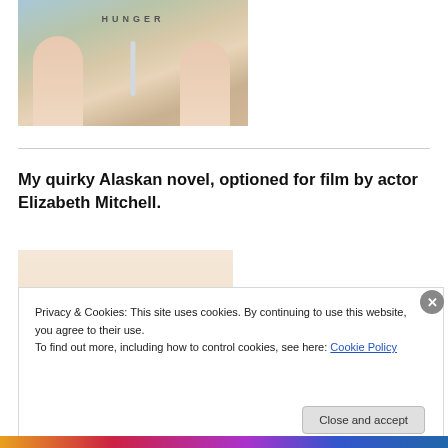[Figure (photo): Book cover image showing two figures with text 'HUNGER' at top, set against a field background]
My quirky Alaskan novel, optioned for film by actor Elizabeth Mitchell.
[Figure (photo): Book cover image with text 'dolls' in red italic serif font on a light peach background]
Privacy & Cookies: This site uses cookies. By continuing to use this website, you agree to their use.
To find out more, including how to control cookies, see here: Cookie Policy
Close and accept